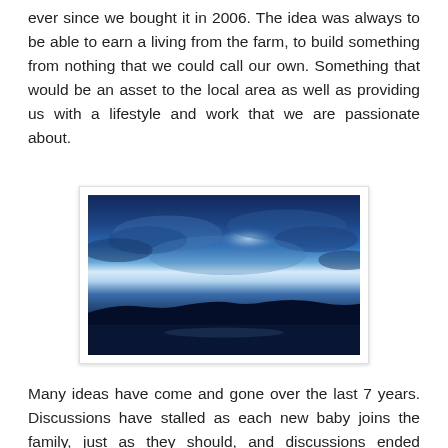ever since we bought it in 2006. The idea was always to be able to earn a living from the farm, to build something from nothing that we could call our own. Something that would be an asset to the local area as well as providing us with a lifestyle and work that we are passionate about.
[Figure (photo): A blue-toned photograph of a seascape or coastal scene at dusk or dawn, with dramatic blue clouds filling most of the frame, a dark landmass or island silhouette near the bottom, and water visible at the base.]
Many ideas have come and gone over the last 7 years. Discussions have stalled as each new baby joins the family, just as they should, and discussions ended completely when